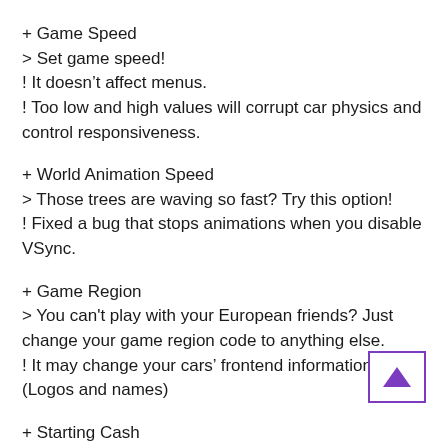+ Game Speed
> Set game speed!
! It doesn't affect menus.
! Too low and high values will corrupt car physics and control responsiveness.
+ World Animation Speed
> Those trees are waving so fast? Try this option!
! Fixed a bug that stops animations when you disable VSync.
+ Game Region
> You can't play with your European friends? Just change your game region code to anything else.
! It may change your cars' frontend information. (Logos and names)
+ Starting Cash